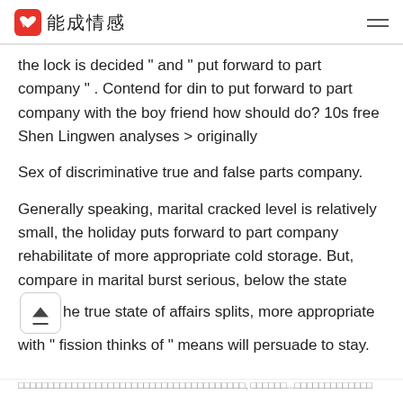能成情感
the lock is decided " and " put forward to part company " . Contend for din to put forward to part company with the boy friend how should do? 10s free Shen Lingwen analyses > originally
Sex of discriminative true and false parts company.
Generally speaking, marital cracked level is relatively small, the holiday puts forward to part company rehabilitate of more appropriate cold storage. But, compare in marital burst serious, below the state the true state of affairs splits, more appropriate with " fission thinks of " means will persuade to stay.
□□□□□□□□□□□□□□□□□□□□□□□□□□□□□□□□□□□□□□, □□□□□□... □□□□□□□□□□□□□